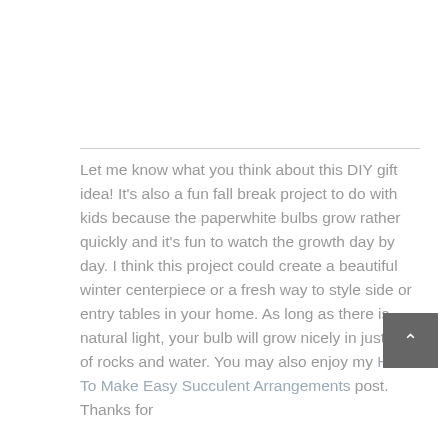Let me know what you think about this DIY gift idea! It's also a fun fall break project to do with kids because the paperwhite bulbs grow rather quickly and it's fun to watch the growth day by day. I think this project could create a beautiful winter centerpiece or a fresh way to style side or entry tables in your home. As long as there is natural light, your bulb will grow nicely in just a jar of rocks and water. You may also enjoy my How To Make Easy Succulent Arrangements post. Thanks for